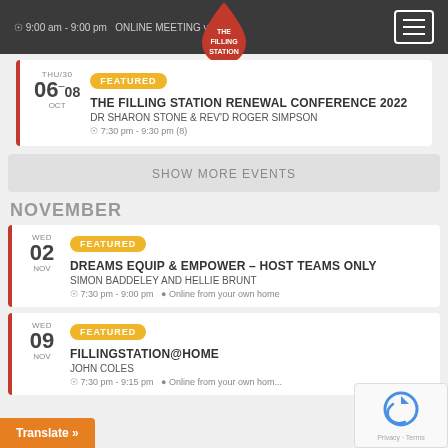The Filling Station website header with navigation
THE FILLING STATION RENEWAL CONFERENCE 2022 | DR SHARON STONE & REV'D ROGER SIMPSON | 7:30 pm - 9:30 pm (8) | FEATURED | 06–08 OCT
SHOW MORE EVENTS
NOVEMBER
DREAMS EQUIP & EMPOWER – HOST TEAMS ONLY | SIMON BADDELEY AND HELLIE BRUNT | 7:30 pm - 9:00 pm | Online from your own home | FEATURED | WED 02 NOV
FILLINGSTATION@HOME | JOHN COLES | 7:30 pm - 9:15 pm | Online from your own home | FEATURED | WED 09 NOV